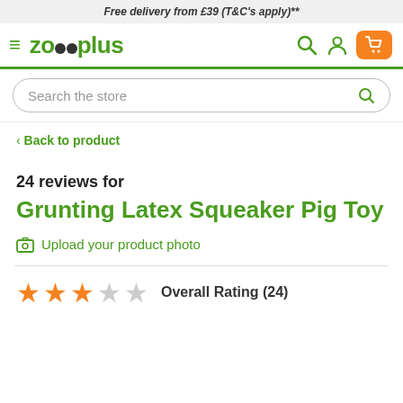Free delivery from £39 (T&C's apply)**
[Figure (logo): Zooplus logo with hamburger menu and nav icons (search, account, cart)]
Search the store
< Back to product
24 reviews for
Grunting Latex Squeaker Pig Toy
Upload your product photo
Overall Rating (24)